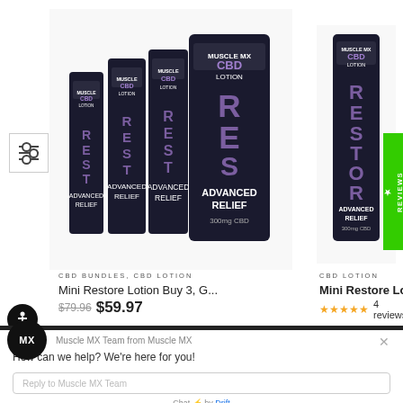[Figure (photo): SALE! badge in pink-red color top left]
[Figure (photo): Four Muscle MX CBD RESTORE Advanced Relief lotion tubes bundled together, black and purple packaging]
[Figure (photo): Single Muscle MX CBD RESTORE Advanced Relief 300mg lotion tube, black and purple packaging]
CBD BUNDLES, CBD LOTION
Mini Restore Lotion Buy 3, G...
$79.96  $59.97
CBD LOTION
Mini Restore Lotion 300mg ...
★★★★★ 4 reviews
Muscle MX Team from Muscle MX
How can we help? We're here for you!
Reply to Muscle MX Team
Chat ⚡ by Drift